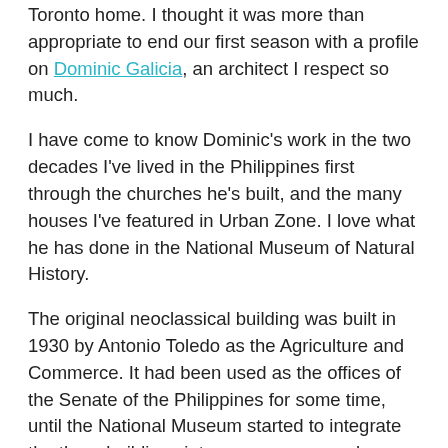Toronto home. I thought it was more than appropriate to end our first season with a profile on Dominic Galicia, an architect I respect so much.
I have come to know Dominic's work in the two decades I've lived in the Philippines first through the churches he's built, and the many houses I've featured in Urban Zone. I love what he has done in the National Museum of Natural History.
The original neoclassical building was built in 1930 by Antonio Toledo as the Agriculture and Commerce. It had been used as the offices of the Senate of the Philippines for some time, until the National Museum started to integrate the three buildings into a museum complex – including the National Museum of Anthropology and Fine Arts. The pitch of Dominic Galicia Architects and Periquet Galicia interior architects won the bid for the restoration of the National Museum of Natural History and construction started in 2013. It took five years